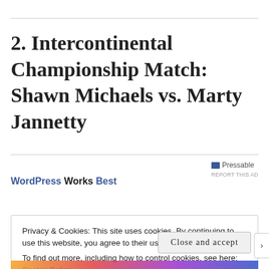2. Intercontinental Championship Match: Shawn Michaels vs. Marty Jannetty
[Figure (other): WordPress advertisement banner showing 'WordPress Works Best' text with Pressable logo and 'REPORT THIS AD' link]
Privacy & Cookies: This site uses cookies. By continuing to use this website, you agree to their use.
To find out more, including how to control cookies, see here: Cookie Policy
Close and accept